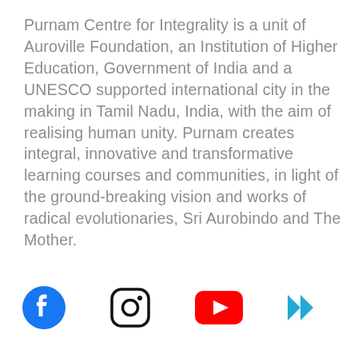Purnam Centre for Integrality is a unit of Auroville Foundation, an Institution of Higher Education, Government of India and a UNESCO supported international city in the making in Tamil Nadu, India, with the aim of realising human unity. Purnam creates integral, innovative and transformative learning courses and communities, in light of the ground-breaking vision and works of radical evolutionaries, Sri Aurobindo and The Mother.
[Figure (infographic): Row of four social media icons: Facebook (blue circle with f), Instagram (rounded square outline), YouTube (red rounded rectangle with play triangle), and a double right-arrow chevron in cyan/blue.]